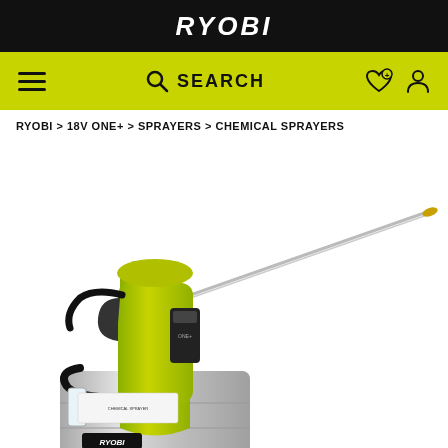RYOBI
SEARCH
RYOBI > 18V ONE+ > SPRAYERS > CHEMICAL SPRAYERS
[Figure (photo): RYOBI 18V ONE+ cordless chemical sprayer in lime green and stainless steel, shown with extended wand/lance. Battery attached to handle. Black hose running from tank to handle. RYOBI logo on tank base.]